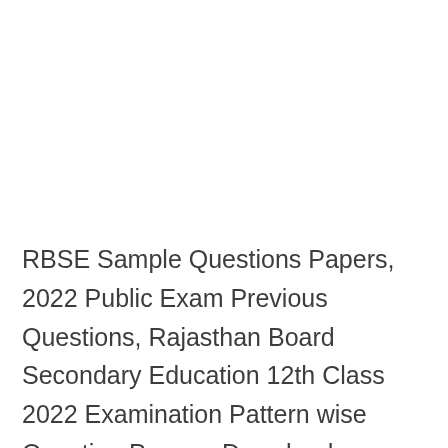RBSE Sample Questions Papers, 2022 Public Exam Previous Questions, Rajasthan Board Secondary Education 12th Class 2022 Examination Pattern wise Question Papers, Download Question Papers,